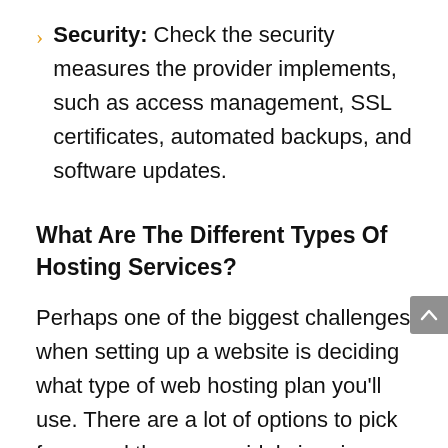Security: Check the security measures the provider implements, such as access management, SSL certificates, automated backups, and software updates.
What Are The Different Types Of Hosting Services?
Perhaps one of the biggest challenges when setting up a website is deciding what type of web hosting plan you’ll use. There are a lot of options to pick from, and they vary widely in price, so you’ll need to be